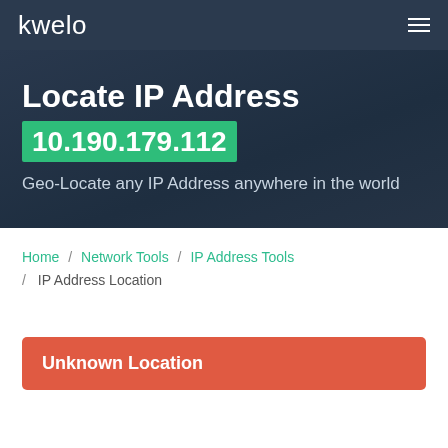kwelo
Locate IP Address
10.190.179.112
Geo-Locate any IP Address anywhere in the world
Home / Network Tools / IP Address Tools / IP Address Location
Unknown Location